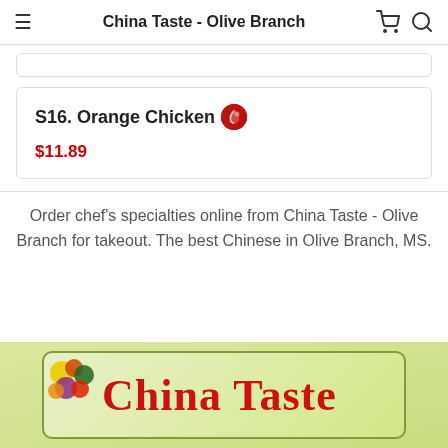China Taste - Olive Branch
S16. Orange Chicken  $11.89
Order chef's specialties online from China Taste - Olive Branch for takeout. The best Chinese in Olive Branch, MS.
[Figure (photo): China Taste restaurant sign with colorful fruit decoration and red cursive text reading 'China Taste' on a light green background]